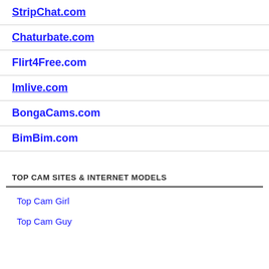StripChat.com
Chaturbate.com
Flirt4Free.com
Imlive.com
BongaCams.com
BimBim.com
TOP CAM SITES & INTERNET MODELS
Top Cam Girl
Top Cam Guy